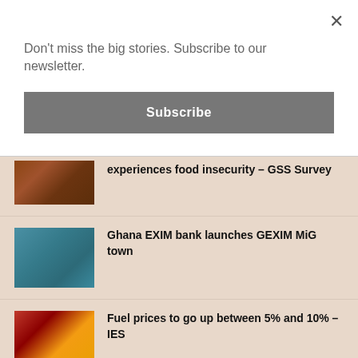Don't miss the big stories. Subscribe to our newsletter.
Subscribe
experiences food insecurity – GSS Survey
[Figure (photo): Food photograph]
Ghana EXIM bank launches GEXIM MiG town
[Figure (photo): Group of people standing together]
Fuel prices to go up between 5% and 10% – IES
[Figure (photo): Fuel pump nozzle]
17 OMCs did not pay GH¢249.8m duties, taxes between 2022, 2021 – Auditor General
[Figure (photo): Tank truck]
Deepened stakeholder collaboration needed to sanitize forex bureau sector –